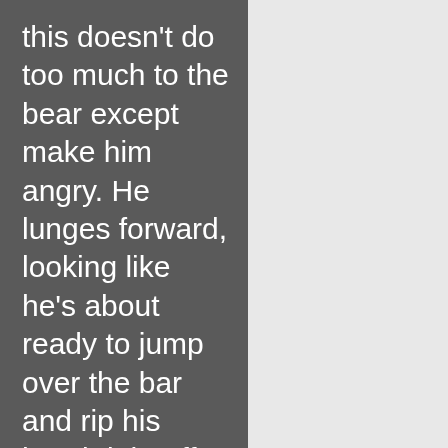this doesn't do too much to the bear except make him angry. He lunges forward, looking like he's about ready to jump over the bar and rip his head right off. He aims the shotgun